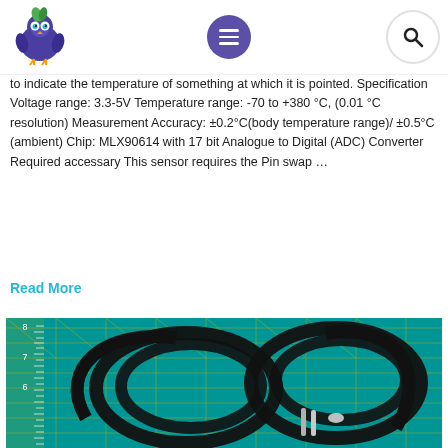Website header with logo, menu, and search
to indicate the temperature of something at which it is pointed. Specification Voltage range: 3.3-5V Temperature range: -70 to +380 °C, (0.01 °C resolution) Measurement Accuracy: ±0.2°C(body temperature range)/ ±0.5°C (ambient) Chip: MLX90614 with 17 bit Analogue to Digital (ADC) Converter Required accessary This sensor requires the Pin swap …
Read More
[Figure (photo): Black temperature sensor probes coiled on a teal/turquoise cutting mat with yellow grid lines and measurement ruler markings showing numbers 4, 5, 6, 7, 8]